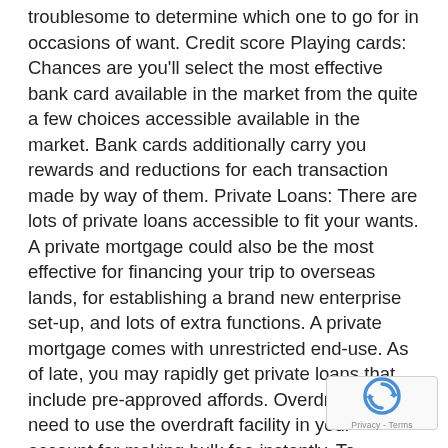troublesome to determine which one to go for in occasions of want. Credit score Playing cards: Chances are you'll select the most effective bank card available in the market from the quite a few choices accessible available in the market. Bank cards additionally carry you rewards and reductions for each transaction made by way of them. Private Loans: There are lots of private loans accessible to fit your wants. A private mortgage could also be the most effective for financing your trip to overseas lands, for establishing a brand new enterprise set-up, and lots of extra functions. A private mortgage comes with unrestricted end-use. As of late, you may rapidly get private loans that include pre-approved affords. Overdraft: You need to use the overdraft facility in your account for making bulk fee instantly. To elucidate additional, these three solutions will show you how to determine which mode to borrow from: 1. Do it is advisable to make upfront purchases or want to satisfy a sudden money requirement? Ask your self this query. A bank card will present the most effective answer if it is advisable to make purchases and should not have adequate money in hand. It offers you entry to prompt credit score. In the event you should not have a bank card at disposal, it is time to fill that bank card utility type . These playing cards come very helpful at occasions of emergency. 2. What are the options of various credit? A bank card comes with a pre-set restrict inside which you
[Figure (other): reCAPTCHA badge with circular arrow icon and 'Privacy - Terms' text]